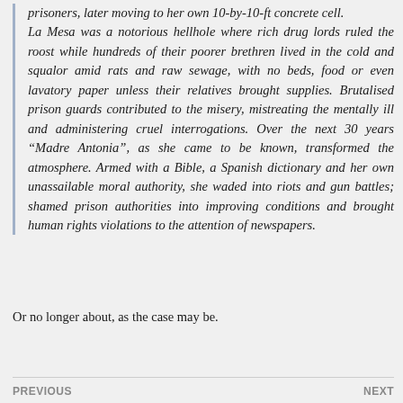prisoners, later moving to her own 10-by-10-ft concrete cell. La Mesa was a notorious hellhole where rich drug lords ruled the roost while hundreds of their poorer brethren lived in the cold and squalor amid rats and raw sewage, with no beds, food or even lavatory paper unless their relatives brought supplies. Brutalised prison guards contributed to the misery, mistreating the mentally ill and administering cruel interrogations. Over the next 30 years “Madre Antonia”, as she came to be known, transformed the atmosphere. Armed with a Bible, a Spanish dictionary and her own unassailable moral authority, she waded into riots and gun battles; shamed prison authorities into improving conditions and brought human rights violations to the attention of newspapers.
Or no longer about, as the case may be.
PREVIOUS  NEXT